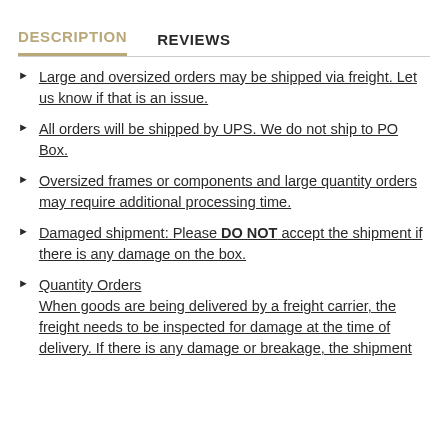DESCRIPTION    REVIEWS
Large and oversized orders may be shipped via freight. Let us know if that is an issue.
All orders will be shipped by UPS. We do not ship to PO Box.
Oversized frames or components and large quantity orders may require additional processing time.
Damaged shipment: Please DO NOT accept the shipment if there is any damage on the box.
Quantity Orders
When goods are being delivered by a freight carrier, the freight needs to be inspected for damage at the time of delivery. If there is any damage or breakage, the shipment